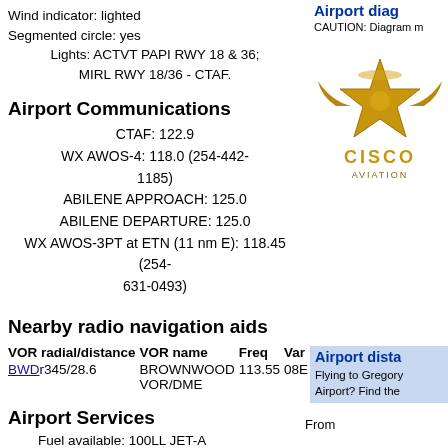Wind indicator: lighted
Segmented circle: yes
Lights: ACTVT PAPI RWY 18 & 36;
MIRL RWY 18/36 - CTAF.
Airport Communications
CTAF: 122.9
WX AWOS-4: 118.0 (254-442-1185)
ABILENE APPROACH: 125.0
ABILENE DEPARTURE: 125.0
WX AWOS-3PT at ETN (11 nm E): 118.45 (254-631-0493)
Nearby radio navigation aids
| VOR radial/distance | VOR name | Freq | Var |
| --- | --- | --- | --- |
| BWDr345/28.6 | BROWNWOOD VOR/DME | 113.55 | 08E |
Airport Services
Fuel available: 100LL JET-A
Airport diag
CAUTION: Diagram m
[Figure (logo): Cisco Aviation logo - gold/bronze star of Texas with wings design and text CISCO AVIATION]
Airport dista
Flying to Gregory Airport? Find the
From